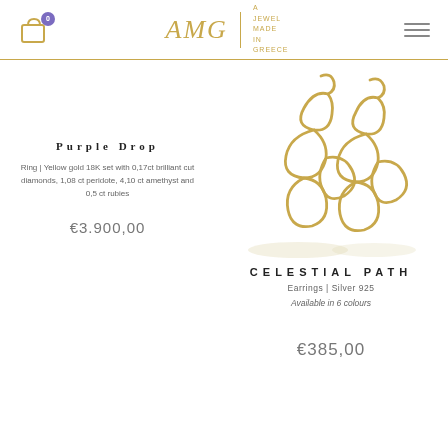AMG - A Jewel Made In Greece
Purple Drop
Ring | Yellow gold 18K set with 0,17ct brilliant cut diamonds, 1,08 ct peridote, 4,10 ct amethyst and 0,5 ct rubies
€3.900,00
[Figure (photo): Gold wire earrings in a looping leaf/petal design, CELESTIAL PATH collection, photographed on white background]
CELESTIAL PATH
Earrings | Silver 925
Available in 6 colours
€385,00